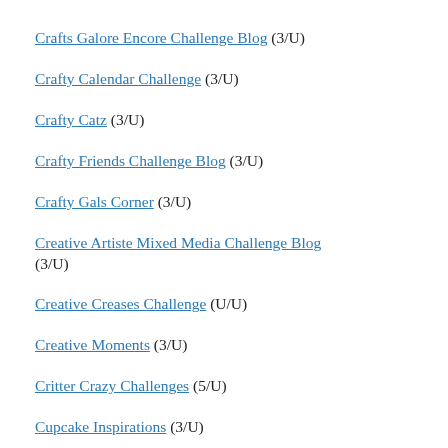Crafts Galore Encore Challenge Blog (3/U)
Crafty Calendar Challenge (3/U)
Crafty Catz (3/U)
Crafty Friends Challenge Blog (3/U)
Crafty Gals Corner (3/U)
Creative Artiste Mixed Media Challenge Blog (3/U)
Creative Creases Challenge (U/U)
Creative Moments (3/U)
Critter Crazy Challenges (5/U)
Cupcake Inspirations (3/U)